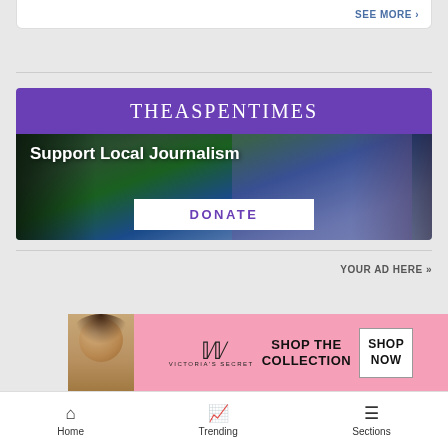SEE MORE »
[Figure (illustration): The Aspen Times banner with purple header showing 'THEASPENTIMES' text and scenic mountain/forest landscape below with 'Support Local Journalism' text and DONATE button]
YOUR AD HERE »
[Figure (illustration): Victoria's Secret advertisement banner with model, VS logo, 'SHOP THE COLLECTION' text and 'SHOP NOW' button on pink background]
Home   Trending   Sections